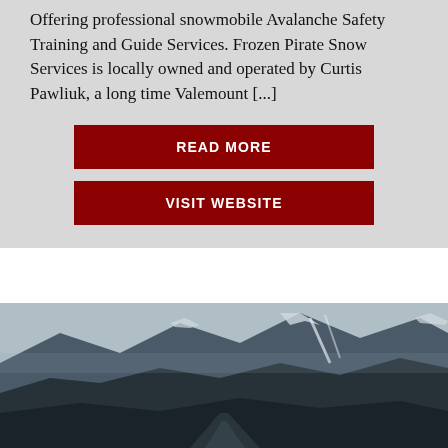Offering professional snowmobile Avalanche Safety Training and Guide Services. Frozen Pirate Snow Services is locally owned and operated by Curtis Pawliuk, a long time Valemount [...]
READ MORE
VISIT WEBSITE
[Figure (photo): A winter mountain landscape with snow-covered peaks, dark forested slopes, and a valley road visible below, photographed in muted dark blue-grey tones.]